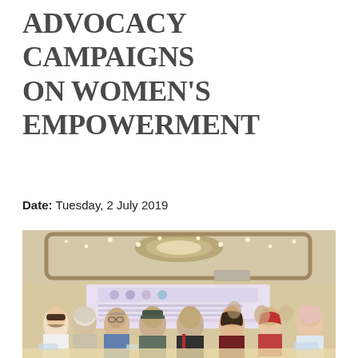ADVOCACY CAMPAIGNS ON WOMEN'S EMPOWERMENT
Date: Tuesday, 2 July 2019
[Figure (photo): Group of people seated at tables in a conference room or banquet hall. A banner with text is visible in the background. The setting appears to be a formal workshop or seminar event.]